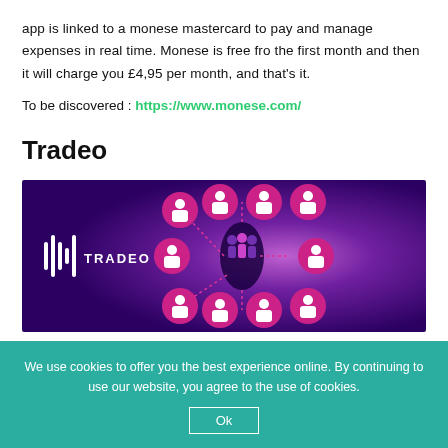app is linked to a monese mastercard to pay and manage expenses in real time. Monese is free fro the first month and then it will charge you £4,95 per month, and that's it.
To be discovered : https://www.monese.com/
Tradeo
[Figure (illustration): Tradeo banner showing the Tradeo logo on a purple gradient background with network/social trading icons arranged in a circular pattern on the right side.]
We use cookies to offer you the best experience online. By continuing to use our website, you agree to the use of cookies. Ok